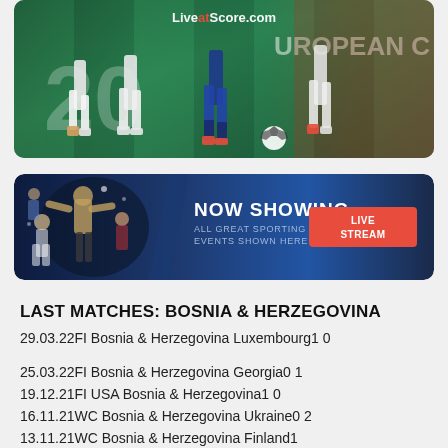[Figure (photo): Soccer/football match action photo with players on field, LiveAtScore.com watermark visible, European championship branding in background]
[Figure (photo): Advertisement banner: NOW SHOWING - ALL GREAT SPORTING EVENTS SHOWN HERE LIVE - LIVE STREAM button, dark blue background with athletes]
LAST MATCHES: BOSNIA & HERZEGOVINA
29.03.22FI Bosnia & Herzegovina Luxembourg1 0
25.03.22FI Bosnia & Herzegovina Georgia0 1
19.12.21FI USA Bosnia & Herzegovina1 0
16.11.21WC Bosnia & Herzegovina Ukraine0 2
13.11.21WC Bosnia & Herzegovina Finland1